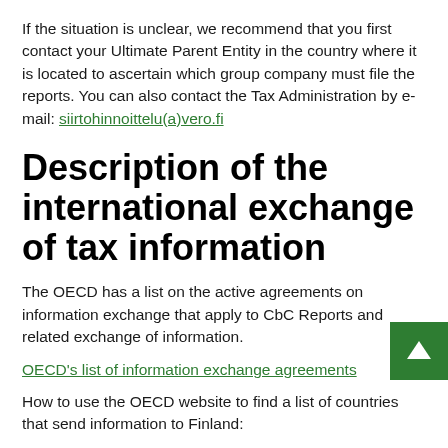If the situation is unclear, we recommend that you first contact your Ultimate Parent Entity in the country where it is located to ascertain which group company must file the reports. You can also contact the Tax Administration by e-mail: siirtohinnoittelu(a)vero.fi
Description of the international exchange of tax information
The OECD has a list on the active agreements on information exchange that apply to CbC Reports and related exchange of information.
OECD's list of information exchange agreements
How to use the OECD website to find a list of countries that send information to Finland: